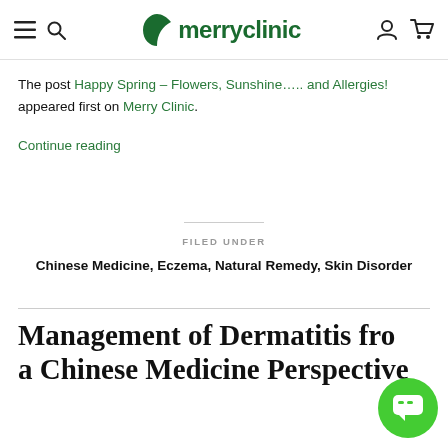merryclinic (navigation bar with hamburger menu, search, logo, user icon, cart icon)
The post Happy Spring – Flowers, Sunshine….. and Allergies! appeared first on Merry Clinic.
Continue reading
FILED UNDER
Chinese Medicine, Eczema, Natural Remedy, Skin Disorder
Management of Dermatitis from a Chinese Medicine Perspective